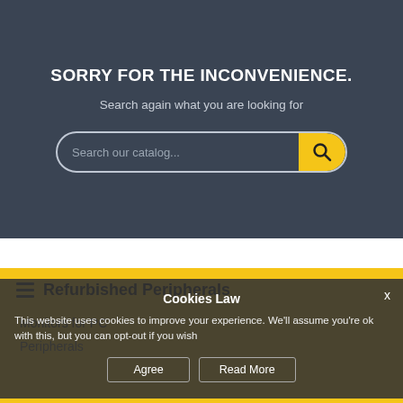SORRY FOR THE INCONVENIENCE.
Search again what you are looking for
[Figure (screenshot): Search bar with placeholder text 'Search our catalog...' and a yellow search button with magnifying glass icon]
Refurbished Peripherals
Monitors for PC
Peripherals
Cookies Law
This website uses cookies to improve your experience. We'll assume you're ok with this, but you can opt-out if you wish
Agree   Read More